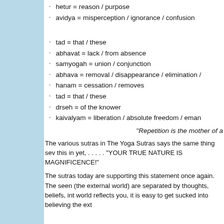hetur  = reason / purpose
avidya = misperception / ignorance / confusion
tad = that / these
abhavat = lack / from absence
samyogah = union / conjunction
abhava = removal / disappearance / elimination /
hanam = cessation / removes
tad = that / these
drseh = of the knower
kaivalyam = liberation / absolute freedom / eman
"Repetition is the mother of a
The various sutras in The Yoga Sutras says the same thing sev this in yet, . . . . . "YOUR TRUE NATURE IS MAGNIFICENCE!"
The sutras today are supporting this statement once again. The seen (the external world) are separated by thoughts, beliefs, int world reflects you, it is easy to get sucked into believing the ext